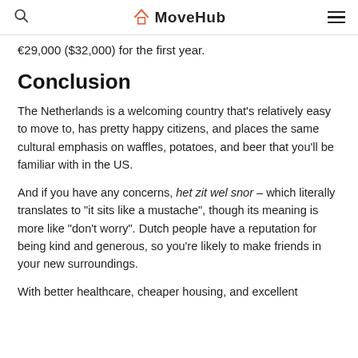MoveHub
€29,000 ($32,000) for the first year.
Conclusion
The Netherlands is a welcoming country that's relatively easy to move to, has pretty happy citizens, and places the same cultural emphasis on waffles, potatoes, and beer that you'll be familiar with in the US.
And if you have any concerns, het zit wel snor – which literally translates to "it sits like a mustache", though its meaning is more like "don't worry". Dutch people have a reputation for being kind and generous, so you're likely to make friends in your new surroundings.
With better healthcare, cheaper housing, and excellent